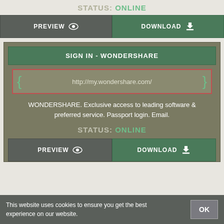STATUS: ONLINE
PREVIEW   DOWNLOAD
SIGN IN - WONDERSHARE
http://my.wondershare.com/
WONDERSHARE. Exclusive access to leading software & preferred service. Passport login. Email.
STATUS: ONLINE
PREVIEW   DOWNLOAD
This website uses cookies to ensure you get the best experience on our website.